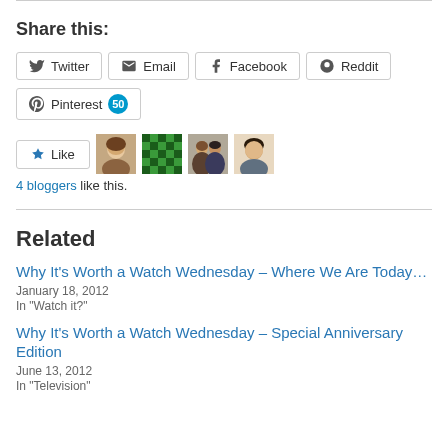Share this:
Twitter | Email | Facebook | Reddit | Pinterest 50
[Figure (other): Like button and 4 blogger avatars]
4 bloggers like this.
Related
Why It's Worth a Watch Wednesday – Where We Are Today…
January 18, 2012
In "Watch it?"
Why It's Worth a Watch Wednesday – Special Anniversary Edition
June 13, 2012
In "Television"